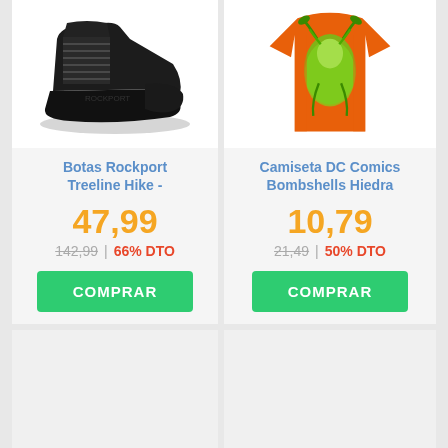[Figure (photo): Black Rockport Treeline Hike boot on white background]
Botas Rockport Treeline Hike -
47,99
142,99 | 66% DTO
COMPRAR
[Figure (photo): Orange DC Comics Bombshells Hiedra graphic t-shirt]
Camiseta DC Comics Bombshells Hiedra
10,79
21,49 | 50% DTO
COMPRAR